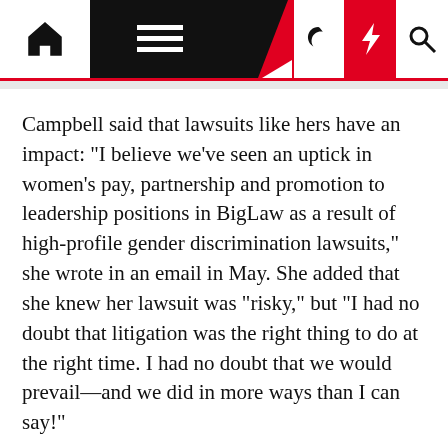Navigation bar with home, menu, dark mode, lightning, and search icons
Campbell said that lawsuits like hers have an impact: "I believe we've seen an uptick in women's pay, partnership and promotion to leadership positions in BigLaw as a result of high-profile gender discrimination lawsuits," she wrote in an email in May. She added that she knew her lawsuit was "risky," but "I had no doubt that litigation was the right thing to do at the right time. I had no doubt that we would prevail—and we did in more ways than I can say!"
Whether law firms are quaking in their boots and taking action to improve the gender pay gap because of these lawsuits is hard to say.
And though firms have implemented policies to guard against bias in compensation and promotion, it's anyone's guess whether gender parity is a top